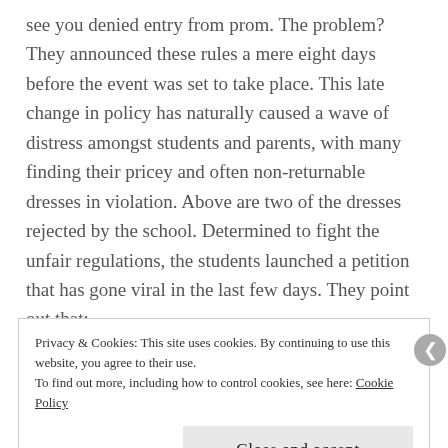see you denied entry from prom. The problem? They announced these rules a mere eight days before the event was set to take place. This late change in policy has naturally caused a wave of distress amongst students and parents, with many finding their pricey and often non-returnable dresses in violation. Above are two of the dresses rejected by the school. Determined to fight the unfair regulations, the students launched a petition that has gone viral in the last few days. They point out that:
Privacy & Cookies: This site uses cookies. By continuing to use this website, you agree to their use.
To find out more, including how to control cookies, see here: Cookie Policy
Close and accept